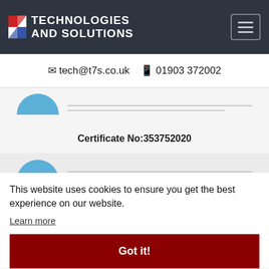[Figure (logo): Technologies and Solutions company logo with navigation hamburger menu on dark navy header bar]
✉ tech@t7s.co.uk  📱 01903 372002
[Figure (other): ISO certification badge with blue semicircle and Certificate No:353752020]
Certificate No:353752020
[Figure (other): Second ISO certification badge partially visible with watermark text ISO CERTIFIED and Certificate No: 353742020]
This website uses cookies to ensure you get the best experience on our website.
Learn more
Got it!
© Technologies and Solutions 2022 - Privacy Policy